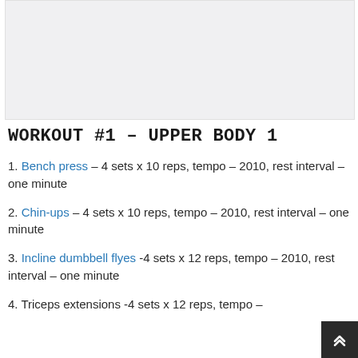[Figure (other): Image placeholder / banner area at top of page]
WORKOUT #1 – UPPER BODY 1
1. Bench press – 4 sets x 10 reps, tempo – 2010, rest interval – one minute
2. Chin-ups – 4 sets x 10 reps, tempo – 2010, rest interval – one minute
3. Incline dumbbell flyes -4 sets x 12 reps, tempo – 2010, rest interval – one minute
4. Triceps extensions -4 sets x 12 reps, tempo –